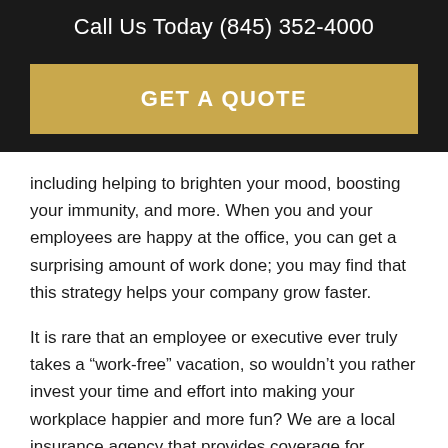Call Us Today (845) 352-4000
GET A QUOTE
including helping to brighten your mood, boosting your immunity, and more. When you and your employees are happy at the office, you can get a surprising amount of work done; you may find that this strategy helps your company grow faster.
It is rare that an employee or executive ever truly takes a “work-free” vacation, so wouldn’t you rather invest your time and effort into making your workplace happier and more fun? We are a local insurance agency that provides coverage for individuals living or working in the area, as well as